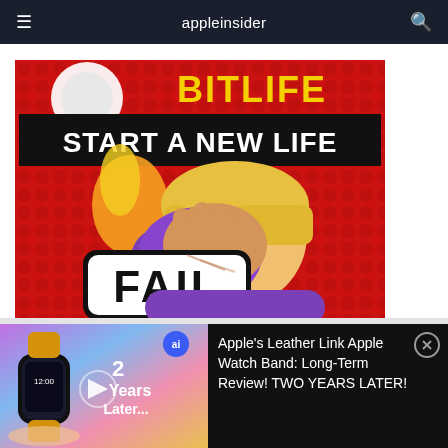appleinsider
[Figure (illustration): BitLife mobile game promotional image showing animated cartoon character doing a facepalm gesture on red dotted background. Text reads 'BITLIFE' in yellow and 'START A NEW LIFE' in white on black banner. Large 'FAIL' stamp in black and white. Character is a blonde woman in purple top covering face with hand.]
[Figure (screenshot): Video thumbnail showing Apple Watch with yellow leather link band on wrist, with text overlay '2 Years Later...' and a blue 'ai' badge. Gradient background of purple, blue, pink, and yellow.]
Apple's Leather Link Apple Watch Band: Long-Term Review! TWO YEARS LATER!